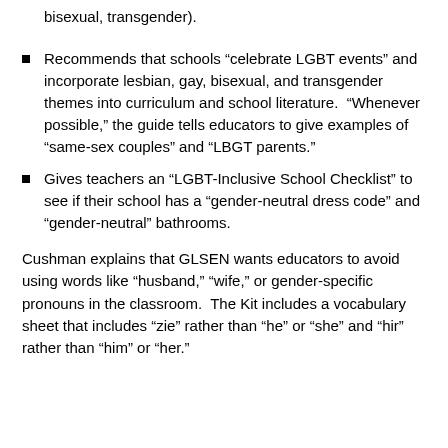bisexual, transgender).
Recommends that schools “celebrate LGBT events” and incorporate lesbian, gay, bisexual, and transgender themes into curriculum and school literature. “Whenever possible,” the guide tells educators to give examples of “same-sex couples” and “LBGT parents.”
Gives teachers an “LGBT-Inclusive School Checklist” to see if their school has a “gender-neutral dress code” and “gender-neutral” bathrooms.
Cushman explains that GLSEN wants educators to avoid using words like “husband,” “wife,” or gender-specific pronouns in the classroom. The Kit includes a vocabulary sheet that includes “zie” rather than “he” or “she” and “hir” rather than “him” or “her.”